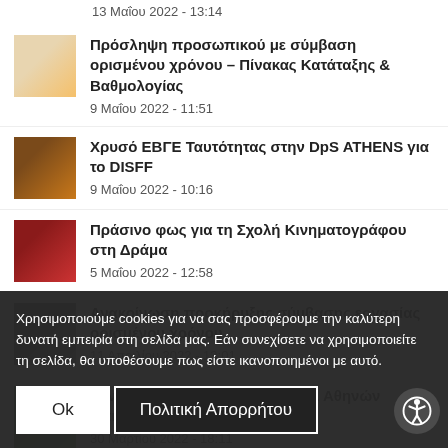13 Μαΐου 2022 - 13:14
Πρόσληψη προσωπικού με σύμβαση ορισμένου χρόνου – Πίνακας Κατάταξης & Βαθμολογίας
9 Μαΐου 2022 - 11:51
Χρυσό ΕΒΓΕ Ταυτότητας στην DpS ATHENS για το DISFF
9 Μαΐου 2022 - 10:16
Πράσινο φως για τη Σχολή Κινηματογράφου στη Δράμα
5 Μαΐου 2022 - 12:58
Ανακοίνωση προκήρυξης σύμβασης εργασίας ορισμένου χρόνου
11 Απριλίου 2022 - 13:01
Συνεργασία DpS με το Φεστιβάλ Αθηνών Επιδαύρου
30 Μαρτίου 2022 - 18:11
Το … μας αγαπάει τα παιδιά
24 Μαρτίου 2022 - 14:59
Χρησιμοποιούμε cookies για να σας προσφέρουμε την καλύτερη δυνατή εμπειρία στη σελίδα μας. Εάν συνεχίσετε να χρησιμοποιείτε τη σελίδα, θα υποθέσουμε πως είστε ικανοποιημένοι με αυτό.
Ok
Πολιτική Απορρήτου